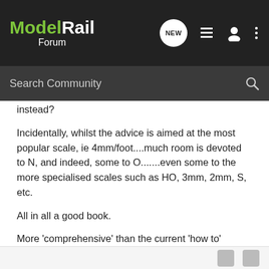[Figure (screenshot): ModelRail Forum navigation bar with logo, NEW button, list icon, user icon, and more options icon]
[Figure (screenshot): Search Community search bar with magnifying glass icon]
instead?
Incidentally, whilst the advice is aimed at the most popular scale, ie 4mm/foot....much room is devoted to N, and indeed, some to O.......even some to the more specialised scales such as HO, 3mm, 2mm, S, etc.
All in all a good book.
More 'comprehensive' than the current 'how to' books..not that I'm saying they are of little worth...simply that this book plunges into greater depth with the subject...leading the reader into the darkest realms of our hoby, railway modelling.